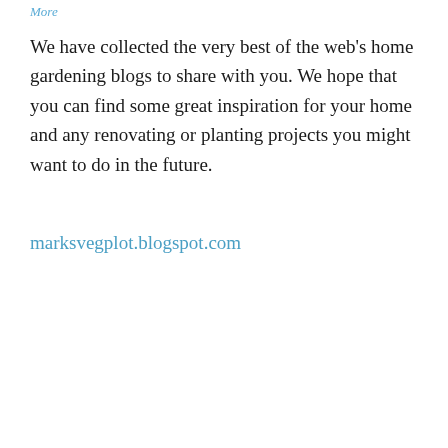More
We have collected the very best of the web's home gardening blogs to share with you. We hope that you can find some great inspiration for your home and any renovating or planting projects you might want to do in the future.
marksvegplot.blogspot.com